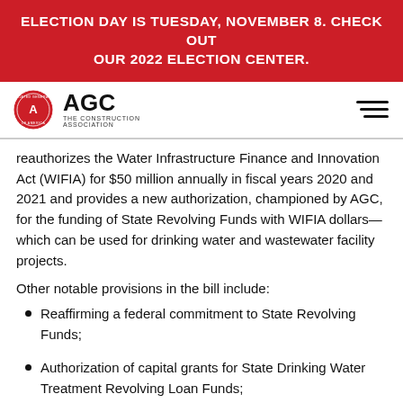ELECTION DAY IS TUESDAY, NOVEMBER 8. CHECK OUT OUR 2022 ELECTION CENTER.
[Figure (logo): AGC - The Construction Association logo with circular seal]
reauthorizes the Water Infrastructure Finance and Innovation Act (WIFIA) for $50 million annually in fiscal years 2020 and 2021 and provides a new authorization, championed by AGC, for the funding of State Revolving Funds with WIFIA dollars—which can be used for drinking water and wastewater facility projects.
Other notable provisions in the bill include:
Reaffirming a federal commitment to State Revolving Funds;
Authorization of capital grants for State Drinking Water Treatment Revolving Loan Funds;